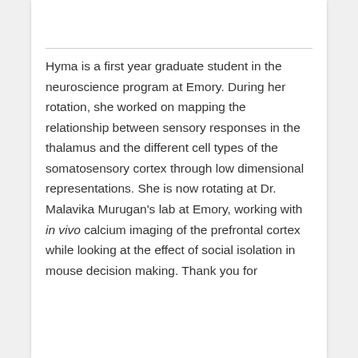Hyma is a first year graduate student in the neuroscience program at Emory. During her rotation, she worked on mapping the relationship between sensory responses in the thalamus and the different cell types of the somatosensory cortex through low dimensional representations. She is now rotating at Dr. Malavika Murugan's lab at Emory, working with in vivo calcium imaging of the prefrontal cortex while looking at the effect of social isolation in mouse decision making. Thank you for